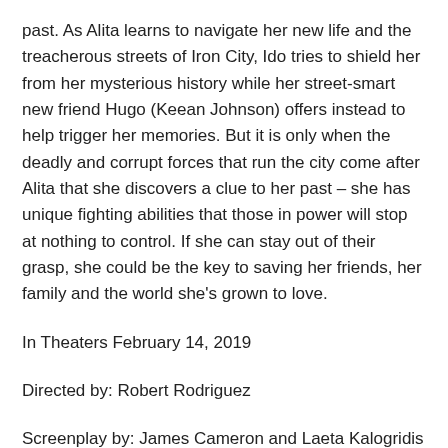past. As Alita learns to navigate her new life and the treacherous streets of Iron City, Ido tries to shield her from her mysterious history while her street-smart new friend Hugo (Keean Johnson) offers instead to help trigger her memories. But it is only when the deadly and corrupt forces that run the city come after Alita that she discovers a clue to her past – she has unique fighting abilities that those in power will stop at nothing to control. If she can stay out of their grasp, she could be the key to saving her friends, her family and the world she's grown to love.
In Theaters February 14, 2019
Directed by: Robert Rodriguez
Screenplay by: James Cameron and Laeta Kalogridis